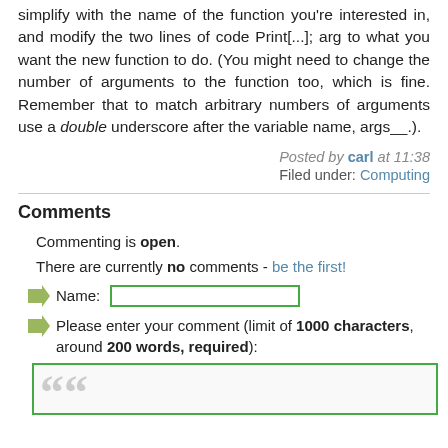simplify with the name of the function you're interested in, and modify the two lines of code Print[...]; arg to what you want the new function to do. (You might need to change the number of arguments to the function too, which is fine. Remember that to match arbitrary numbers of arguments use a double underscore after the variable name, args__.).
Posted by carl at 11:38
Filed under: Computing
Comments
Commenting is open.
There are currently no comments - be the first!
Name: [input field]
Please enter your comment (limit of 1000 characters, around 200 words, required):
[textarea]